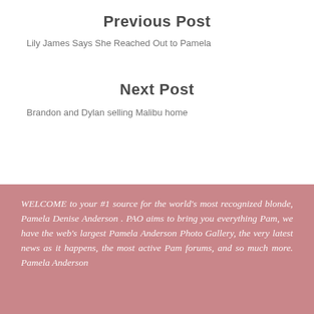Previous Post
Lily James Says She Reached Out to Pamela
Next Post
Brandon and Dylan selling Malibu home
WELCOME to your #1 source for the world's most recognized blonde, Pamela Denise Anderson . PAO aims to bring you everything Pam, we have the web's largest Pamela Anderson Photo Gallery, the very latest news as it happens, the most active Pam forums, and so much more. Pamela Anderson